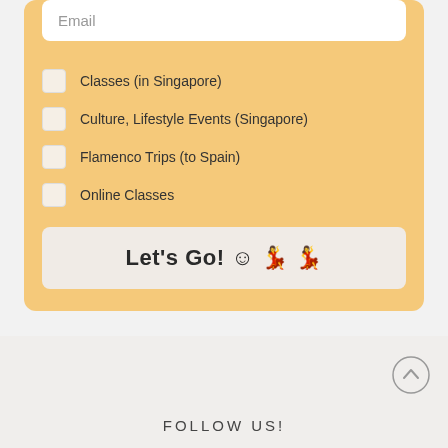Email
Classes (in Singapore)
Culture, Lifestyle Events (Singapore)
Flamenco Trips (to Spain)
Online Classes
Let's Go! 😊 💃 💃
FOLLOW US!